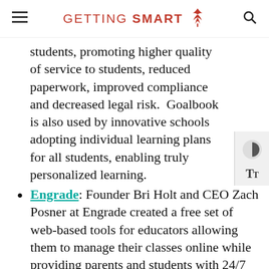GETTING SMART
students, promoting higher quality of service to students, reduced paperwork, improved compliance and decreased legal risk.  Goalbook is also used by innovative schools adopting individual learning plans for all students, enabling truly personalized learning.
Engrade: Founder Bri Holt and CEO Zach Posner at Engrade created a free set of web-based tools for educators allowing them to manage their classes online while providing parents and students with 24/7 real-time online access. Engrade has over 3 million registered users and is used by elementary schools, high schools, and